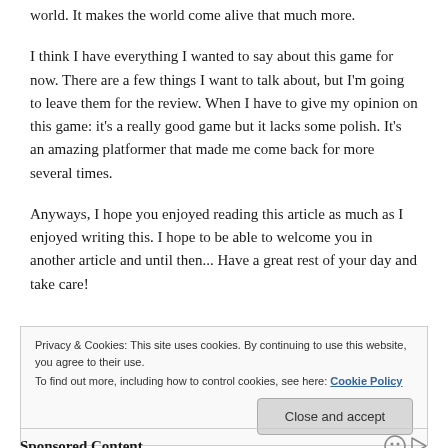world. It makes the world come alive that much more.
I think I have everything I wanted to say about this game for now. There are a few things I want to talk about, but I'm going to leave them for the review. When I have to give my opinion on this game: it's a really good game but it lacks some polish. It's an amazing platformer that made me come back for more several times.
Anyways, I hope you enjoyed reading this article as much as I enjoyed writing this. I hope to be able to welcome you in another article and until then... Have a great rest of your day and take care!
Privacy & Cookies: This site uses cookies. By continuing to use this website, you agree to their use. To find out more, including how to control cookies, see here: Cookie Policy
Close and accept
Sponsored Content